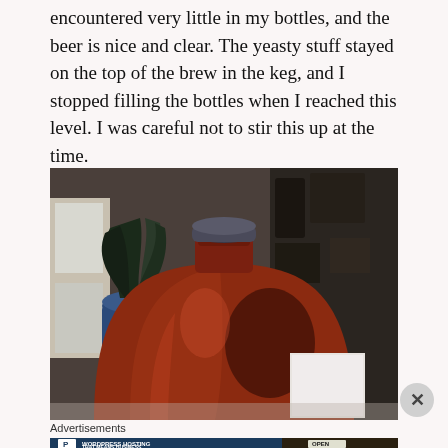encountered very little in my bottles, and the beer is nice and clear. The yeasty stuff stayed on the top of the brew in the keg, and I stopped filling the bottles when I reached this level. I was careful not to stir this up at the time.
[Figure (photo): A large glass jug or carboy filled with dark reddish-amber liquid (homebrew beer), with a screw-on lid. A blue plant pot with dark foliage is visible in the background on the left. Kitchen shelving and equipment visible in the background on the right.]
Advertisements
[Figure (screenshot): Advertisement banner: dark blue background on left side with white letter P logo and text 'WORDPRESS HOSTING THAT MEANS BUSINESS.' in bold white text. Right side shows a photo of a hand holding an 'OPEN' sign.]